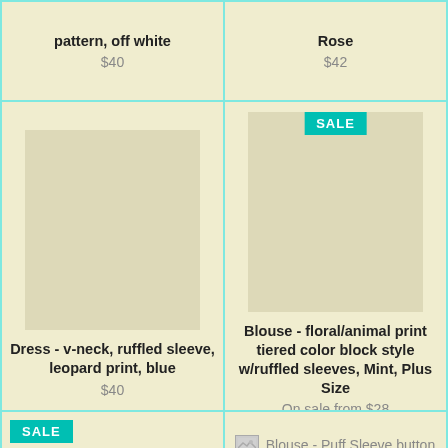pattern, off white
$40
Rose
$42
[Figure (photo): Product image placeholder for dress]
SALE
[Figure (photo): Product image placeholder for blouse]
Dress - v-neck, ruffled sleeve, leopard print, blue
$40
Blouse - floral/animal print tiered color block style w/ruffled sleeves, Mint, Plus Size
On sale from $28
SALE
Blouse - Round neck with Camo detail pocket &
Blouse - Puff Sleeve button front, Mocha, Plus Size